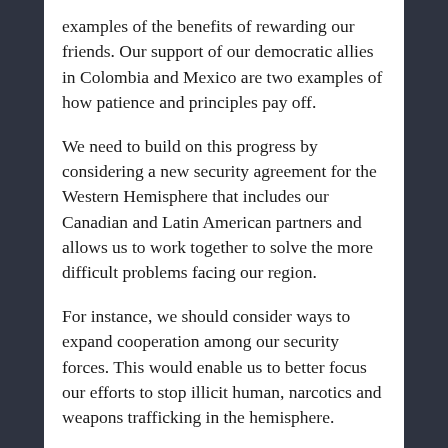examples of the benefits of rewarding our friends. Our support of our democratic allies in Colombia and Mexico are two examples of how patience and principles pay off.
We need to build on this progress by considering a new security agreement for the Western Hemisphere that includes our Canadian and Latin American partners and allows us to work together to solve the more difficult problems facing our region.
For instance, we should consider ways to expand cooperation among our security forces. This would enable us to better focus our efforts to stop illicit human, narcotics and weapons trafficking in the hemisphere.
On the energy front, the Western Hemisphere needs to establish itself as a democratic,